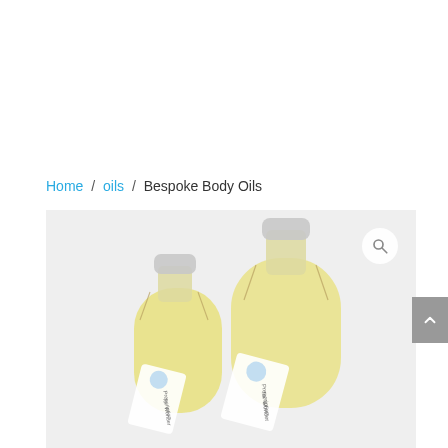Home / oils / Bespoke Body Oils
[Figure (photo): Two clear glass bottles of yellow body oil with white screw caps and wire/string ties. Each bottle has a hanging tag that reads 'Prescription for Wonder'. The smaller bottle is in front-left and the larger bottle is behind-right, both on a light background.]